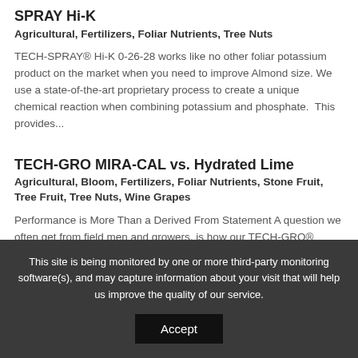SPRAY Hi-K
Agricultural, Fertilizers, Foliar Nutrients, Tree Nuts
TECH-SPRAY® Hi-K 0-26-28 works like no other foliar potassium product on the market when you need to improve Almond size. We use a state-of-the-art proprietary process to create a unique chemical reaction when combining potassium and phosphate.  This provides...
TECH-GRO MIRA-CAL vs. Hydrated Lime
Agricultural, Bloom, Fertilizers, Foliar Nutrients, Stone Fruit, Tree Fruit, Tree Nuts, Wine Grapes
Performance is More Than a Derived From Statement A question we often get from field men and growers, is how our TECH-GRO® MIRA-CAL differs from
This site is being monitored by one or more third-party monitoring software(s), and may capture information about your visit that will help us improve the quality of our service.